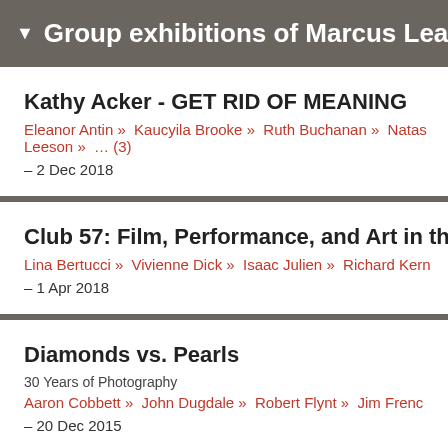▼ Group exhibitions of Marcus Leatherd
Kathy Acker - GET RID OF MEANING
Eleanor Antin » Kaucyila Brooke » Ruth Buchanan » Natas Leeson » … (3)
– 2 Dec 2018
Club 57: Film, Performance, and Art in the East V
Lina Bertucci » Vivienne Dick » Isaac Julien » Richard Kern
– 1 Apr 2018
Diamonds vs. Pearls
30 Years of Photography
Aaron Cobbett » John Dugdale » Robert Flynt » Jim Frenc
– 20 Dec 2015